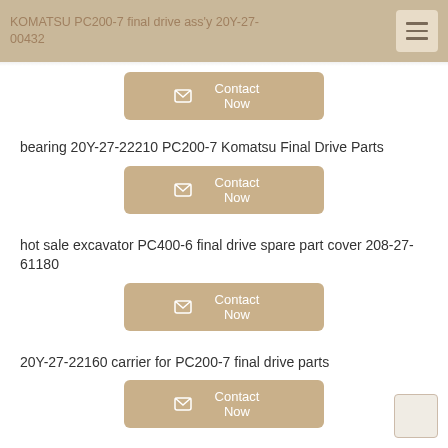KOMATSU PC200-7 final drive ass'y 20Y-27-00432
bearing 20Y-27-22210 PC200-7 Komatsu Final Drive Parts
Contact Now
hot sale excavator PC400-6 final drive spare part cover 208-27-61180
Contact Now
20Y-27-22160 carrier for PC200-7 final drive parts
Contact Now
Komatsu final drive ass'y 208-27-00151 for PC450-6
Contact Now